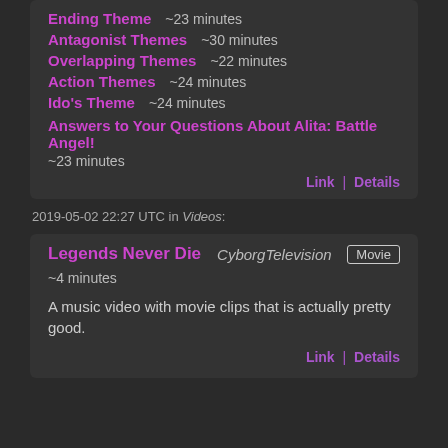Ending Theme   ~23 minutes
Antagonist Themes   ~30 minutes
Overlapping Themes   ~22 minutes
Action Themes   ~24 minutes
Ido's Theme   ~24 minutes
Answers to Your Questions About Alita: Battle Angel!
~23 minutes
Link | Details
2019-05-02 22:27 UTC in Videos:
Legends Never Die
CyborgTelevision
Movie
~4 minutes
A music video with movie clips that is actually pretty good.
Link | Details